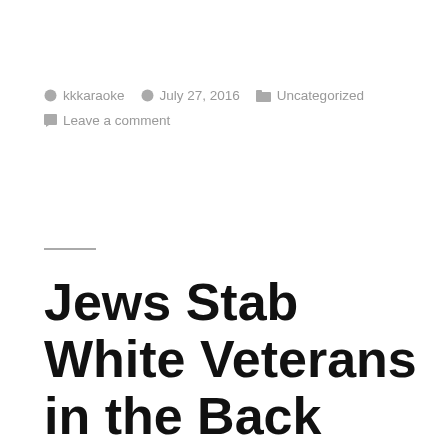kkkaraoke  July 27, 2016  Uncategorized  Leave a comment
Jews Stab White Veterans in the Back